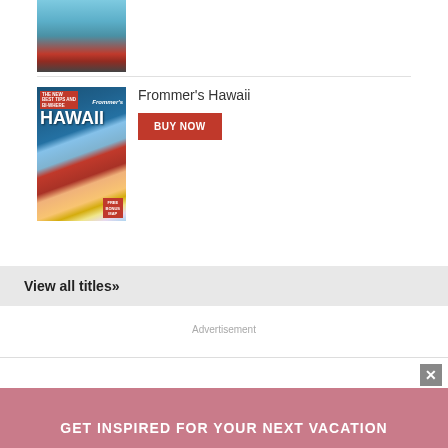[Figure (photo): Partial view of a travel guide book cover showing tropical scenery (cropped at top of page)]
[Figure (photo): Frommer's Hawaii travel guide book cover showing surfboards on beach, palm trees, and tropical scenery]
Frommer's Hawaii
BUY NOW
View all titles»
Advertisement
GET INSPIRED FOR YOUR NEXT VACATION